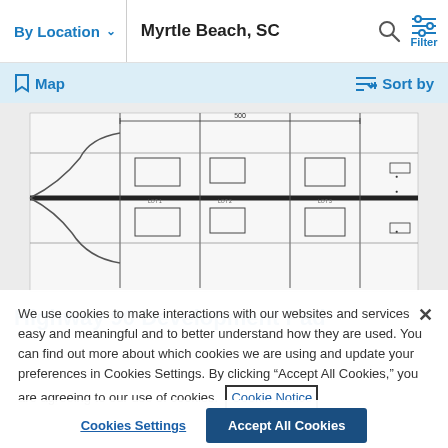By Location  |  Myrtle Beach, SC
Map   Sort by
[Figure (engineering-diagram): Blueprint/site plan drawing for Highway 90 Development Pad showing road layout and parcel lines in black and white]
Highway 90 Development Pad
We use cookies to make interactions with our websites and services easy and meaningful and to better understand how they are used. You can find out more about which cookies we are using and update your preferences in Cookies Settings. By clicking “Accept All Cookies,” you are agreeing to our use of cookies.  Cookie Notice
Cookies Settings   Accept All Cookies